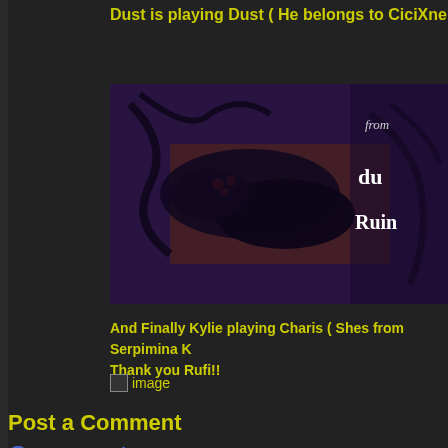Dust is playing Dust ( He belongs to CiciXnena Who doe
[Figure (illustration): Dark fantasy banner image with purple and black tones showing creature silhouettes, with text 'from du Ruin' on the right side]
And Finally Kylie playing Charis ( Shes from Serpimina K Thank you Rufi!!
[Figure (photo): Broken/missing image placeholder labeled 'image']
Post a Comment
Comments:
jamie59   21st Feb 2016, 9:09 PM
[Figure (photo): Avatar photo of a middle-aged man with beard]
Why isn't Noctis smiling at what she hears? At l
Centcomm   21st Feb 2016, 9:21 PM